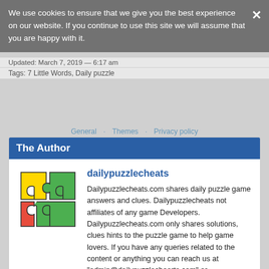We use cookies to ensure that we give you the best experience on our website. If you continue to use this site we will assume that you are happy with it.
Updated: March 7, 2019 — 6:17 am
Tags: 7 Little Words, Daily puzzle
General · Themes · Privacy policy
The Author
dailypuzzlecheats
Dailypuzzlecheats.com shares daily puzzle game answers and clues. Dailypuzzlecheats not affiliates of any game Developers. Dailypuzzlecheats.com only shares solutions, clues hints to the puzzle game to help game lovers. If you have any queries related to the content or anything you can reach us at "admin@dailypuzzlechearts.com" or "maqbul233@gmail.com" contact via the contact form.
← Previous Post
Next Post →
Leave a Reply
Enter your comment here...